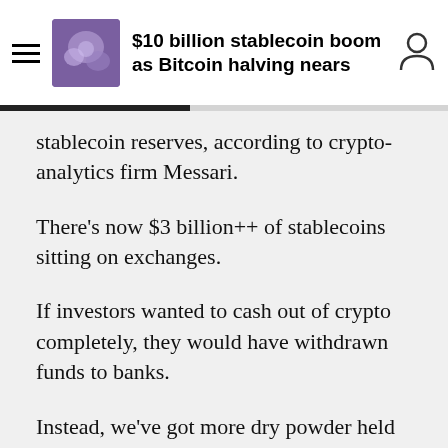$10 billion stablecoin boom as Bitcoin halving nears
stablecoin reserves, according to crypto-analytics firm Messari.
There's now $3 billion++ of stablecoins sitting on exchanges.
If investors wanted to cash out of crypto completely, they would have withdrawn funds to banks.
Instead, we've got more dry powder held in the crypto economy than ever before.
In both real and market cap % terms.
pic.twitter.com/rCEYNacMYo